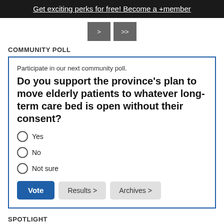Get exciting perks for free! Become a +member
COMMUNITY POLL
Participate in our next community poll.
Do you support the province's plan to move elderly patients to whatever long-term care bed is open without their consent?
Yes
No
Not sure
SPOTLIGHT